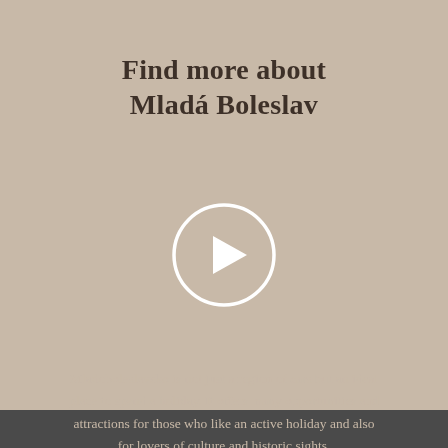Find more about Mladá Boleslav
[Figure (illustration): A circular play button icon with white border and white triangle (play arrow) centered inside, on a tan background.]
Mladoboleslavsko is not just a region of cars but an ideal place to spend a holiday. It offers many opportunities and attractions for those who like an active holiday and also for lovers of culture and historic sights.